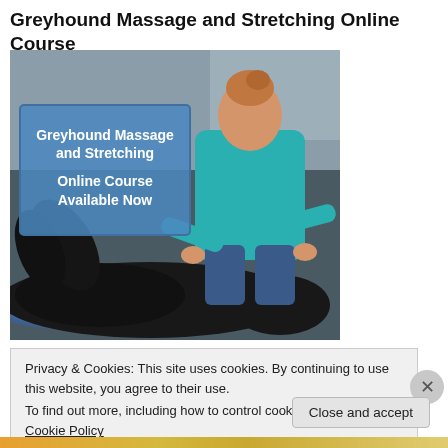Greyhound Massage and Stretching Online Course
[Figure (photo): A person in a teal/turquoise top leaning over a black greyhound lying on its back on a blue blanket, appearing to massage the dog. An overlay box reads: Greyhound Massage and Stretching Online Course Available Now]
Privacy & Cookies: This site uses cookies. By continuing to use this website, you agree to their use.
To find out more, including how to control cookies, see here: Cookie Policy
Close and accept